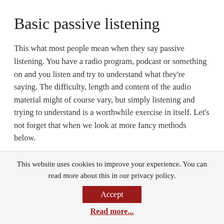Basic passive listening
This what most people mean when they say passive listening. You have a radio program, podcast or something on and you listen and try to understand what they're saying. The difficulty, length and content of the audio material might of course vary, but simply listening and trying to understand is a worthwhile exercise in itself. Let's not forget that when we look at more fancy methods below.
Note that more active listening isn't necessarily good.
This website uses cookies to improve your experience. You can read more about this in our privacy policy.
Accept
Read more...